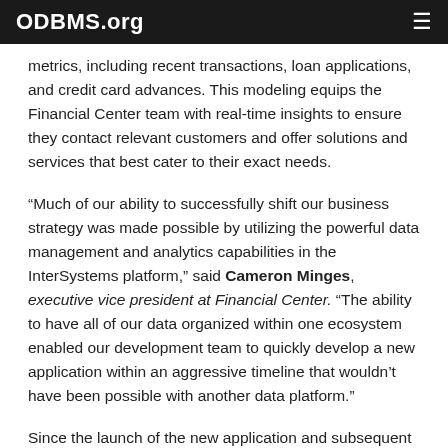ODBMS.org
metrics, including recent transactions, loan applications, and credit card advances. This modeling equips the Financial Center team with real-time insights to ensure they contact relevant customers and offer solutions and services that best cater to their exact needs.
“Much of our ability to successfully shift our business strategy was made possible by utilizing the powerful data management and analytics capabilities in the InterSystems platform,” said Cameron Minges, executive vice president at Financial Center. “The ability to have all of our data organized within one ecosystem enabled our development team to quickly develop a new application within an aggressive timeline that wouldn’t have been possible with another data platform.”
Since the launch of the new application and subsequent customer outreach, Financial Center has seen production numbers reach historic highs. The company surpassed three sales records,